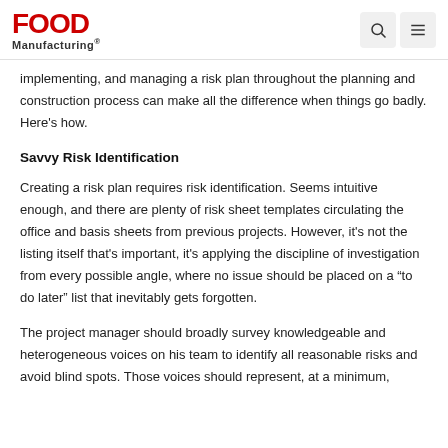Food Manufacturing
implementing, and managing a risk plan throughout the planning and construction process can make all the difference when things go badly. Here's how.
Savvy Risk Identification
Creating a risk plan requires risk identification. Seems intuitive enough, and there are plenty of risk sheet templates circulating the office and basis sheets from previous projects. However, it's not the listing itself that's important, it's applying the discipline of investigation from every possible angle, where no issue should be placed on a “to do later” list that inevitably gets forgotten.
The project manager should broadly survey knowledgeable and heterogeneous voices on his team to identify all reasonable risks and avoid blind spots. Those voices should represent, at a minimum,